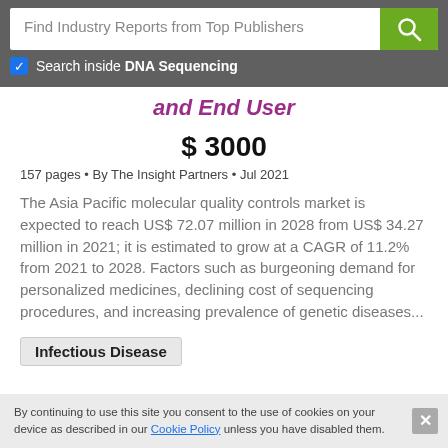Find Industry Reports from Top Publishers
Search inside DNA Sequencing
and End User
$ 3000
157 pages • By The Insight Partners • Jul 2021
The Asia Pacific molecular quality controls market is expected to reach US$ 72.07 million in 2028 from US$ 34.27 million in 2021; it is estimated to grow at a CAGR of 11.2% from 2021 to 2028. Factors such as burgeoning demand for personalized medicines, declining cost of sequencing procedures, and increasing prevalence of genetic diseases...
Infectious Disease
By continuing to use this site you consent to the use of cookies on your device as described in our Cookie Policy unless you have disabled them.